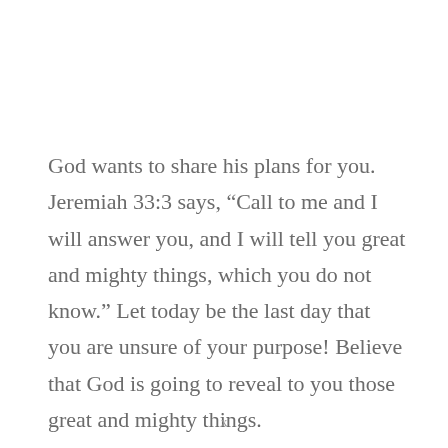God wants to share his plans for you. Jeremiah 33:3 says, “Call to me and I will answer you, and I will tell you great and mighty things, which you do not know.” Let today be the last day that you are unsure of your purpose! Believe that God is going to reveal to you those great and mighty things.
x